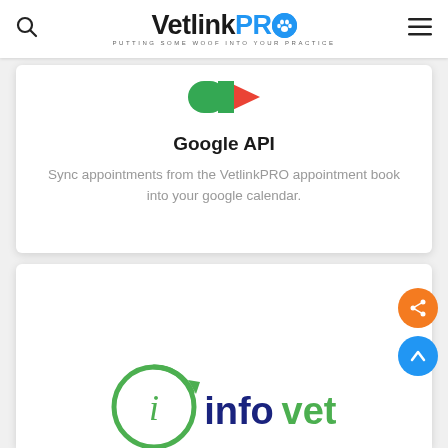VetlinkPRO — PUTTING SOME WOOF INTO YOUR PRACTICE
[Figure (logo): Google API logo icon (green and red Google Calendar style icon)]
Google API
Sync appointments from the VetlinkPRO appointment book into your google calendar.
[Figure (logo): Infovet logo — green circular arrow with italic i, and 'infovet' text in dark blue and green]